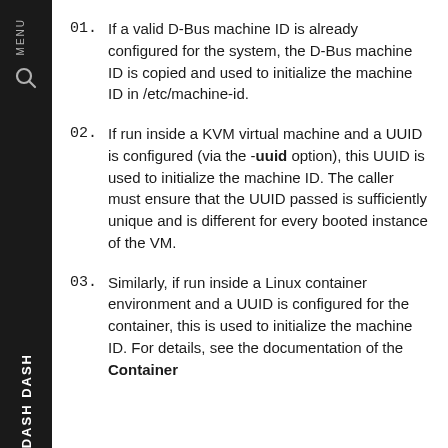01. If a valid D-Bus machine ID is already configured for the system, the D-Bus machine ID is copied and used to initialize the machine ID in /etc/machine-id.
02. If run inside a KVM virtual machine and a UUID is configured (via the -uuid option), this UUID is used to initialize the machine ID. The caller must ensure that the UUID passed is sufficiently unique and is different for every booted instance of the VM.
03. Similarly, if run inside a Linux container environment and a UUID is configured for the container, this is used to initialize the machine ID. For details, see the documentation of the Container